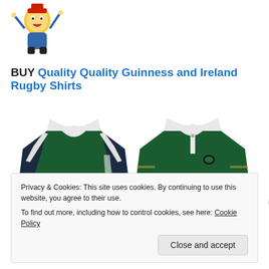[Figure (illustration): Colorful cartoon mascot character with arms raised, wearing sports gear]
BUY Quality Quality Guinness and Ireland Rugby Shirts
[Figure (photo): Two green rugby shirts side by side: left shirt has Guinness branding with harp logo, right shirt says IRELAND with a badge]
Privacy & Cookies: This site uses cookies. By continuing to use this website, you agree to their use.
To find out more, including how to control cookies, see here: Cookie Policy
Close and accept